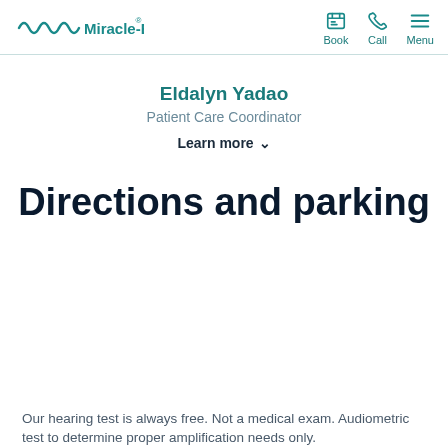Miracle-Ear | Book | Call | Menu
Eldalyn Yadao
Patient Care Coordinator
Learn more
Directions and parking
Our hearing test is always free. Not a medical exam. Audiometric test to determine proper amplification needs only.